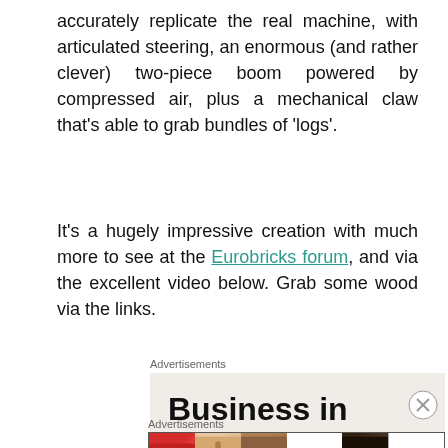accurately replicate the real machine, with articulated steering, an enormous (and rather clever) two-piece boom powered by compressed air, plus a mechanical claw that's able to grab bundles of 'logs'.
It's a hugely impressive creation with much more to see at the Eurobricks forum, and via the excellent video below. Grab some wood via the links.
[Figure (infographic): Advertisement banner reading 'Business in the front...' over a beige background, with a WordPress-branded orange/pink gradient bar below.]
[Figure (infographic): Bottom advertisement strip showing beauty/makeup product images with ULTA logo and SHOP NOW call to action.]